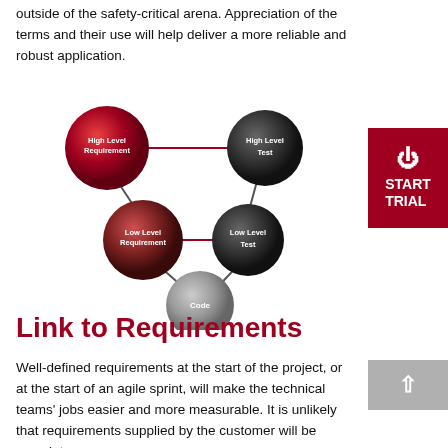outside of the safety-critical arena. Appreciation of the terms and their use will help deliver a more reliable and robust application.
[Figure (flowchart): Diamond-shaped flowchart showing four connected nodes: High Level Requirement (red, top-left), High Level Test (dark grey, top-right), Low Level Requirement (dark red, middle-left), Low Level Test (dark grey, middle-right), Code (light grey, bottom-center). Bidirectional red arrows connect High Level Requirement to High Level Test and Low Level Requirement to Low Level Test. Lines connect nodes diagonally forming a diamond/V-model pattern.]
Link to Requirements
Well-defined requirements at the start of the project, or at the start of an agile sprint, will make the technical teams' jobs easier and more measurable. It is unlikely that requirements supplied by the customer will be complete